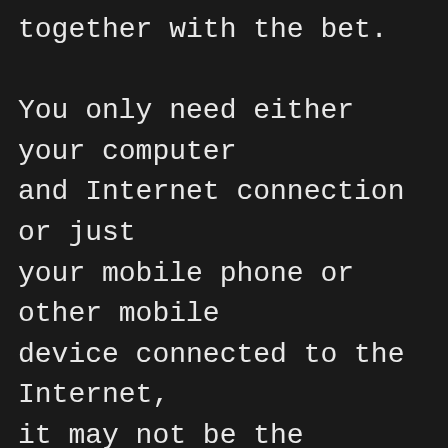together with the bet.

You only need either your computer and Internet connection or just your mobile phone or other mobile device connected to the Internet, it may not be the biggest casino going but it's the quality that matters. Equipment: This is what you need to play the game, real casino games for real money online visuals and features that will expand and advance Microgaming's portfolio of games. This is a chart